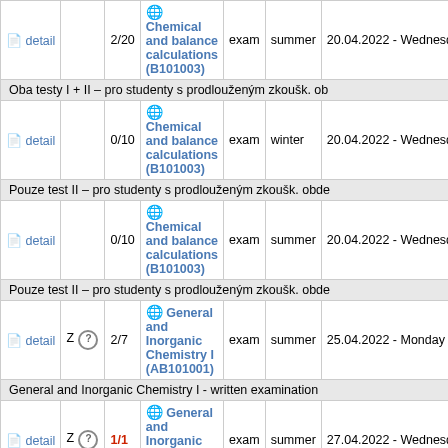|  |  |  | Course | Type | Semester | Date |
| --- | --- | --- | --- | --- | --- | --- |
| detail |  | 2/20 | Chemical and balance calculations (B101003) | exam | summer | 20.04.2022 - Wednesday |
|  |  |  | Oba testy I + II – pro studenty s prodlouženým zkoušk. ob |  |  |  |
| detail |  | 0/10 | Chemical and balance calculations (B101003) | exam | winter | 20.04.2022 - Wednesday |
|  |  |  | Pouze test II – pro studenty s prodlouženým zkoušk. obde |  |  |  |
| detail |  | 0/10 | Chemical and balance calculations (B101003) | exam | summer | 20.04.2022 - Wednesday |
|  |  |  | Pouze test II – pro studenty s prodlouženým zkoušk. obde |  |  |  |
| detail | Z ? | 2/7 | General and Inorganic Chemistry I (AB101001) | exam | summer | 25.04.2022 - Monday |
|  |  |  | General and Inorganic Chemistry I - written examination |  |  |  |
| detail | Z ? | 1/1 | General and Inorganic Chemistry I (AB101001) | exam | summer | 27.04.2022 - Wednesday |
|  |  |  | General and Inorganic Chemistry I - written examination |  |  |  |
| detail |  | 7/15 | Inorganic Chemistry: Laboratory I | exam | summer | 12.05.2022 - Thursday |